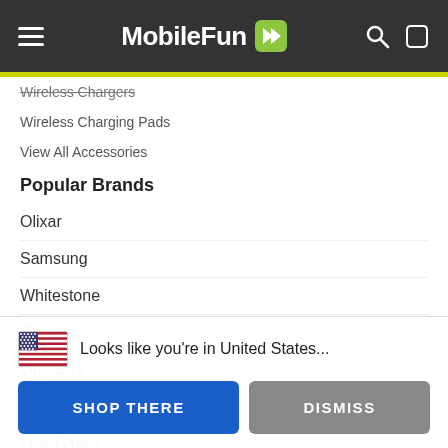MobileFun
Wireless Chargers
Wireless Charging Pads
View All Accessories
Popular Brands
Olixar
Samsung
Whitestone
Ghostek
OtterBox
Spigen
LoveCases
Ringke
Araree
Looks like you're in United States...
SHOP THERE
DISMISS